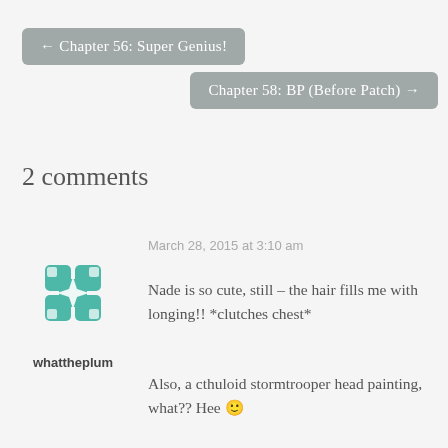← Chapter 56: Super Genius!
Chapter 58: BP (Before Patch) →
2 comments
[Figure (illustration): Teal geometric quilt-style avatar icon with star/flower pattern]
whattheplum
March 28, 2015 at 3:10 am
Nade is so cute, still – the hair fills me with longing!! *clutches chest*
Also, a cthuloid stormtrooper head painting, what?? Hee 🙂